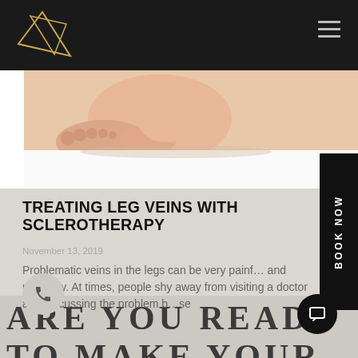Navigation header with logo and hamburger menu
[Figure (photo): Close-up photo of female legs/feet on white background]
TREATING LEG VEINS WITH SCLEROTHERAPY
November 13, 2019
Problematic veins in the legs can be very painful and unsightly. At times, people shy away from visiting a doctor and discussing the problem because
ARE YOU READ
TO MAKE YOUR